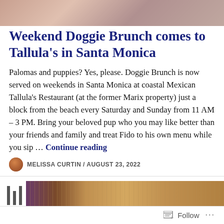[Figure (photo): Partial photo of a dog at the top of the page]
Weekend Doggie Brunch comes to Tallula's in Santa Monica
Palomas and puppies? Yes, please. Doggie Brunch is now served on weekends in Santa Monica at coastal Mexican Tallula's Restaurant (at the former Marix property) just a block from the beach every Saturday and Sunday from 11 AM – 3 PM. Bring your beloved pup who you may like better than your friends and family and treat Fido to his own menu while you sip … Continue reading
MELISSA CURTIN / AUGUST 23, 2022
[Figure (photo): Partial photo at the bottom of the page showing a decorative background with vertical bars on the left]
Follow